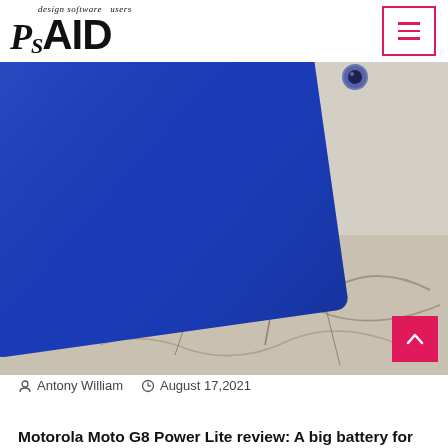PsAID – design software users
[Figure (photo): Close-up photo of a blue smartphone (Motorola Moto G8 Power Lite) resting on a cracked white painted surface, showing the back corner and edge of the device.]
Antony William   August 17,2021
Motorola Moto G8 Power Lite review: A big battery for